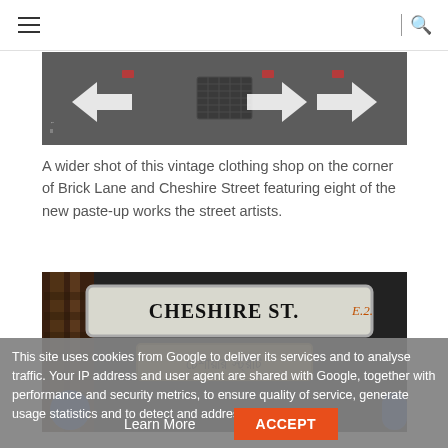Navigation and search header
[Figure (photo): Wide shot of road surface with white painted arrows on dark tarmac, showing a vintage clothing shop corner at Brick Lane and Cheshire Street]
A wider shot of this vintage clothing shop on the corner of Brick Lane and Cheshire Street featuring eight of the new paste-up works the street artists.
[Figure (photo): Street sign reading CHESHIRE ST. E.2 with Bengali script below it, mounted on a weathered brick wall post. Blue circular road signs visible.]
This site uses cookies from Google to deliver its services and to analyse traffic. Your IP address and user agent are shared with Google, together with performance and security metrics, to ensure quality of service, generate usage statistics and to detect and address abuse.